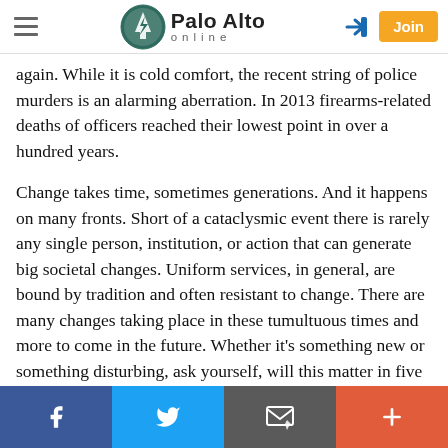Palo Alto online
again. While it is cold comfort, the recent string of police murders is an alarming aberration. In 2013 firearms-related deaths of officers reached their lowest point in over a hundred years.
Change takes time, sometimes generations. And it happens on many fronts. Short of a cataclysmic event there is rarely any single person, institution, or action that can generate big societal changes. Uniform services, in general, are bound by tradition and often resistant to change. There are many changes taking place in these tumultuous times and more to come in the future. Whether it's something new or something disturbing, ask yourself, will this matter in five hours, five days, five
Facebook | Twitter | Email | More